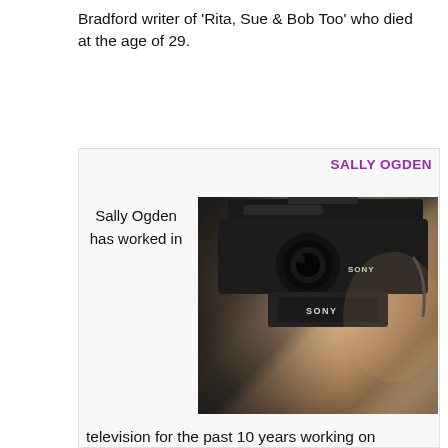Bradford writer of 'Rita, Sue & Bob Too' who died at the age of 29.
SALLY OGDEN
Sally Ogden has worked in
[Figure (photo): Sally Ogden taking a selfie with a Sony professional video camera, wearing headphones, with a studio/office background visible behind her.]
television for the past 10 years working on